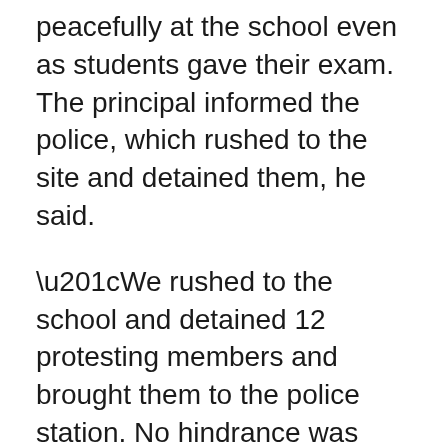peacefully at the school even as students gave their exam. The principal informed the police, which rushed to the site and detained them, he said.
“We rushed to the school and detained 12 protesting members and brought them to the police station. No hindrance was caused to the girls taking the exam in a classroom,” the inspector said.
Protesters claimed that the girls were attending school wearing hijab as part of a conspiracy to turn Gujarat into Shaheen Baug, a site of sit-in protest by Muslims against the Citizenship (Amendment) Act.